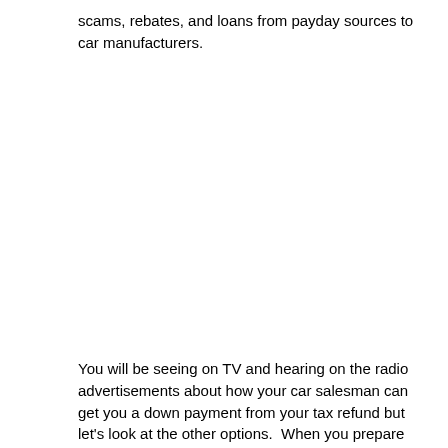scams, rebates, and loans from payday sources to car manufacturers.
You will be seeing on TV and hearing on the radio advertisements about how your car salesman can get you a down payment from your tax refund but let's look at the other options.  When you prepare your taxes at H&R Block